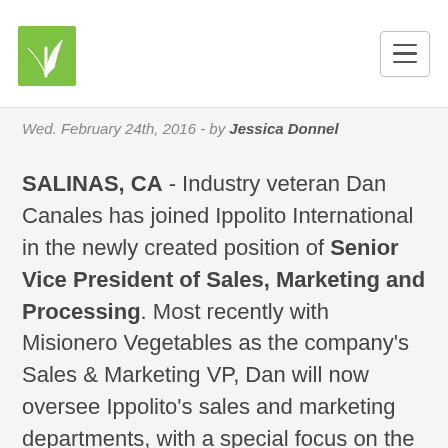[Logo: Ippolito International / plant icon] [Hamburger menu button]
Wed. February 24th, 2016 - by Jessica Donnel
SALINAS, CA - Industry veteran Dan Canales has joined Ippolito International in the newly created position of Senior Vice President of Sales, Marketing and Processing. Most recently with Misionero Vegetables as the company's Sales & Marketing VP, Dan will now oversee Ippolito's sales and marketing departments, with a special focus on the company's new processing facility and launching of its products.